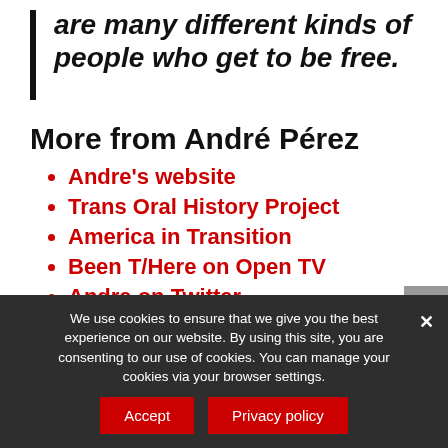are many different kinds of people who get to be free.
More from André Pérez
Andre's website
Trans Oral History Project
America in Transition
Been T/Here on Open TV
Andre on Twitter
We use cookies to ensure that we give you the best experience on our website. By using this site, you are consenting to our use of cookies. You can manage your cookies via your browser settings.